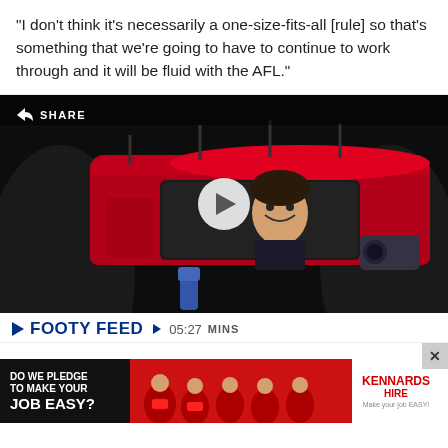"I don't think it's necessarily a one-size-fits-all [rule] so that's something that we're going to have to continue to work through and it will be fluid with the AFL."
[Figure (photo): Video thumbnail showing a man smiling from inside a red car window, with microphones pointed at him and a camera operator visible. A play button overlay is shown in the center. A SHARE button is in the top left.]
FOOTY FEED  05:27 MINS
[Figure (infographic): Advertisement banner for Kennards Hire reading 'DO WE PLEDGE TO MAKE YOUR JOB EASY?' with people in red uniforms and the Kennards Hire logo.]